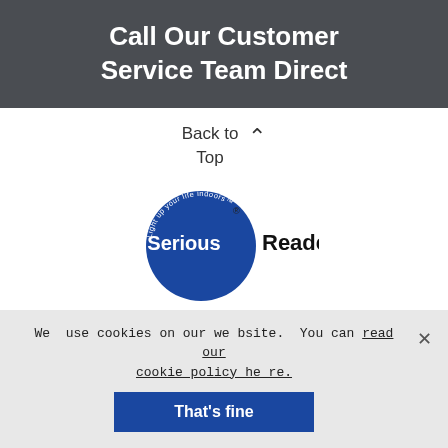Call Our Customer Service Team Direct
Back to Top
[Figure (logo): Serious Readers logo: blue circle with white text 'Serious' and black text 'Readers', with curved text 'Light up your life indoors']
Chapel Offices, Bierton, Bucks, HP22 5DW, Great Britain VAT No: GB537 296 223 | Co. Registration No. 02485587
Copyright © 2001-2022 Serious Readers.
We use cookies on our website. You can read our cookie policy here.
That's fine